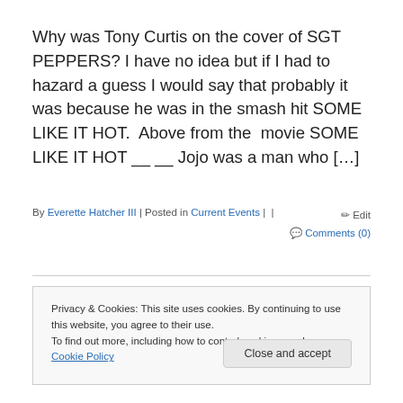Why was Tony Curtis on the cover of SGT PEPPERS? I have no idea but if I had to hazard a guess I would say that probably it was because he was in the smash hit SOME LIKE IT HOT.  Above from the  movie SOME LIKE IT HOT __ __ Jojo was a man who […]
By Everette Hatcher III | Posted in Current Events |  |   ✏ Edit  💬 Comments (0)
Privacy & Cookies: This site uses cookies. By continuing to use this website, you agree to their use.
To find out more, including how to control cookies, see here: Cookie Policy